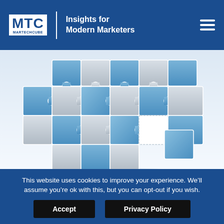MTC MARTECHCUBE | Insights for Modern Marketers
[Figure (illustration): 3D puzzle pieces arranged in a circular/semi-circular shape, colored in blue and grey, on a light blue/white background]
Forbidden Technologies plc (AIM: FBT), the developer and seller of Blackbird, the workstation experience in the cloud, announces that it is creating a new board role of “Chief Operating and Financial Officer”. The Company has appointed,
This website uses cookies to improve your experience. We’ll assume you’re ok with this, but you can opt-out if you wish.
Accept   Privacy Policy